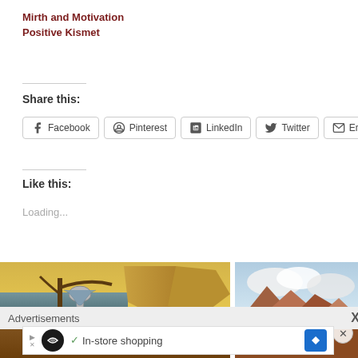Mirth and Motivation
Positive Kismet
Share this:
Facebook  Pinterest  LinkedIn  Twitter  Email
Like this:
Loading...
[Figure (photo): Surrealist painting (Dali-style) showing a melting clock draped over a bare tree branch in a desert landscape with cliffs and blue water]
[Figure (photo): Landscape photo showing mountains with clouds and blue sky]
Advertisements
[Figure (screenshot): Advertisement banner: In-store shopping with logo and navigation arrow icon]